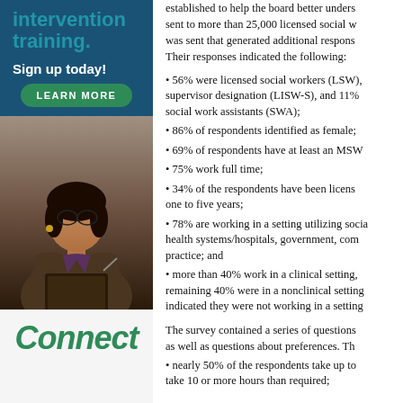intervention training.
Sign up today!
LEARN MORE
[Figure (photo): A professional woman writing in a notebook, wearing a blazer, photographed against a dark background.]
Connect
established to help the board better understand... sent to more than 25,000 licensed social workers... was sent that generated additional responses... Their responses indicated the following:
56% were licensed social workers (LSW), supervisor designation (LISW-S), and 11% social work assistants (SWA);
86% of respondents identified as female;
69% of respondents have at least an MSW
75% work full time;
34% of the respondents have been licensed one to five years;
78% are working in a setting utilizing social health systems/hospitals, government, community practice; and
more than 40% work in a clinical setting, remaining 40% were in a nonclinical setting, indicated they were not working in a setting
The survey contained a series of questions as well as questions about preferences. The
nearly 50% of the respondents take up to take 10 or more hours than required;